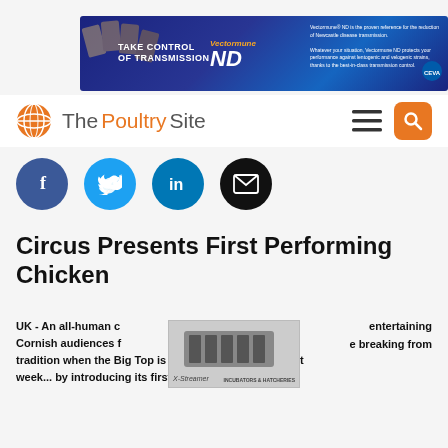[Figure (screenshot): Vectormune ND advertisement banner with dark blue background, domino tiles visual, orange badge, and product information text]
[Figure (logo): The Poultry Site logo with orange globe icon, navigation hamburger menu and orange search button]
[Figure (screenshot): Social media share buttons: Facebook (blue), Twitter (light blue), LinkedIn (blue), Email (black), displayed as circles]
Circus Presents First Performing Chicken
UK - An all-human circus entertaining Cornish audiences for years is breaking from tradition when the Big Top is erected in Callington next week... by introducing its first animal act.